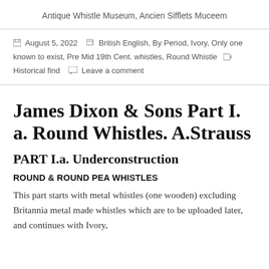Antique Whistle Museum, Ancien Sifflets Muceem
August 5, 2022   British English, By Period, Ivory, Only one known to exist, Pre Mid 19th Cent. whistles, Round Whistle   Historical find   Leave a comment
James Dixon & Sons Part I. a. Round Whistles. A.Strauss
PART I.a. Underconstruction
ROUND & ROUND PEA WHISTLES
This part starts with metal whistles (one wooden) excluding Britannia metal made whistles which are to be uploaded later, and continues with Ivory,